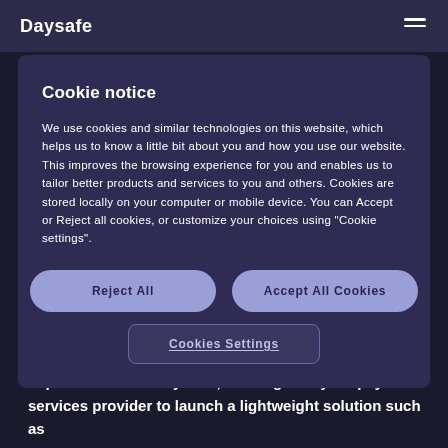Daysafe
Cookie notice
We use cookies and similar technologies on this website, which helps us to know a little bit about you and how you use our website. This improves the browsing experience for you and enables us to tailor better products and services to you and others. Cookies are stored locally on your computer or mobile device. You can Accept or Reject all cookies, or customize your choices using "Cookie settings".
Reject All
Accept All Cookies
Cookies Settings
kitchen printer in the same format as walk-in customers.
For restaurants that are not currently operating a sophisticated POS system, working with your payment services provider to launch a lightweight solution such as